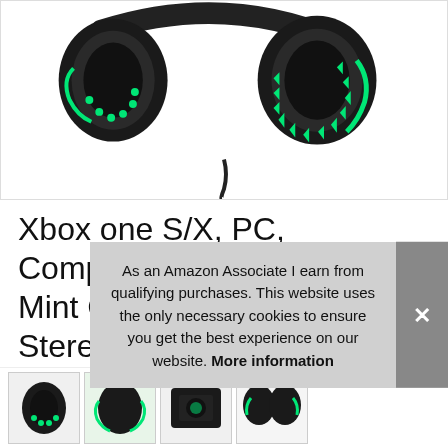[Figure (photo): Black and green gaming headset with glowing mint green LED lights on earcups, shown from slightly above angle against white background]
Xbox one S/X, PC, Compatible with PS4, Skype Mint Green, Butfulake GH1 Stereo Gaming Headset with mic & Splitter Cable for PUBG Over Ear Headphone Noise Isolation mic, Switch Surround Sound
[Figure (photo): Thumbnail strip showing partial images of the gaming headset product from different angles]
As an Amazon Associate I earn from qualifying purchases. This website uses the only necessary cookies to ensure you get the best experience on our website. More information